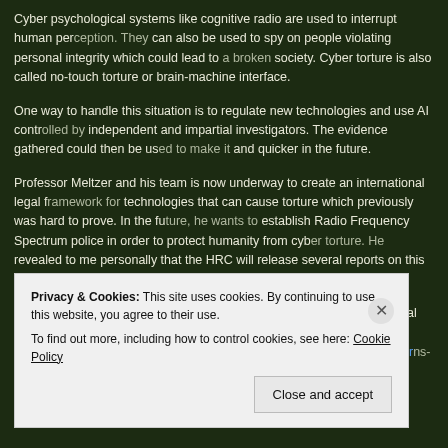Cyber psychological systems like cognitive radio are used to interrupt human perception. They can also be used to spy on people violating personal integrity which could lead to a broken society. Cyber torture is also called no-touch torture or brain-machine interface.
One way to handle this situation is to regulate new technologies and use AI controlled by independent and impartial investigators. The evidence gathered could then be used to make it quicker and quicker in the future.
Professor Meltzer and his team is now underway to create an international legal framework for technologies that can cause torture which previously was hard to prove. In the future, he wants to establish Radio Frequency Spectrum police in order to protect humanity from cyber torture. He revealed to me personally that the HRC will release several reports on this subject.
Owen Bowcott, 'UN warns of rise of 'cybertorture' to bypass physical ban' 2020) https://www.theguardian.com/law/2020/feb/21/un-rapporteur-warns-of-rise-of-cybertorture-to-bypass-physical-ban
Privacy & Cookies: This site uses cookies. By continuing to use this website, you agree to their use. To find out more, including how to control cookies, see here: Cookie Policy
Close and accept